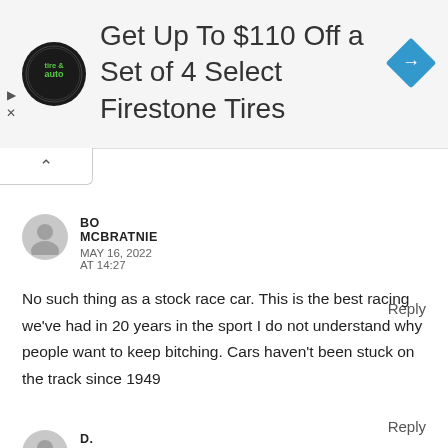[Figure (other): Advertisement banner: Firestone tire & auto logo, text 'Get Up To $110 Off a Set of 4 Select Firestone Tires', blue diamond navigation icon on the right]
Reply
BO MCBRATNIE
MAY 16, 2022 AT 14:27
No such thing as a stock race car. This is the best racing we've had in 20 years in the sport I do not understand why people want to keep bitching. Cars haven't been stuck on the track since 1949
Reply
D. ELLIOTT